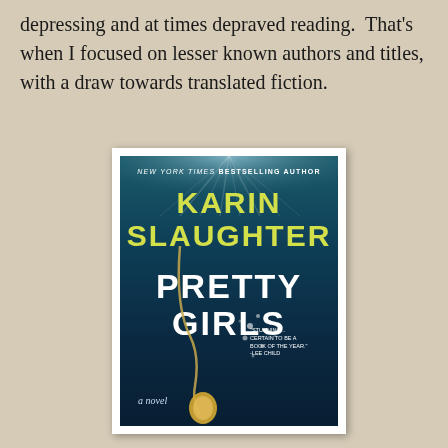depressing and at times depraved reading.  That's when I focused on lesser known authors and titles, with a draw towards translated fiction.
[Figure (illustration): Book cover of 'Pretty Girls' by Karin Slaughter. Dark teal/navy gradient background with light rays at top. Text reads 'NEW YORK TIMES BESTSELLING AUTHOR' at top, then 'KARIN SLAUGHTER' in large yellow letters, then 'PRETTY GIRLS' in large white letters. A gold locket on a chain is shown underwater with bubbles. A blurb reads 'STUNNING... CERTAIN TO BE A BOOK OF THE YEAR.' - LEE CHILD. 'a novel' in italic at bottom left.]